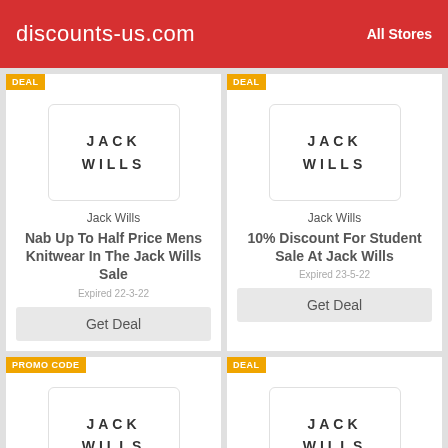discounts-us.com   All Stores
[Figure (logo): Jack Wills logo with DEAL badge - Nab Up To Half Price Mens Knitwear In The Jack Wills Sale, Expired 22-3-22]
Jack Wills
Nab Up To Half Price Mens Knitwear In The Jack Wills Sale
Expired 22-3-22
Get Deal
[Figure (logo): Jack Wills logo with DEAL badge - 10% Discount For Student Sale At Jack Wills, Expired 23-5-22]
Jack Wills
10% Discount For Student Sale At Jack Wills
Expired 23-5-22
Get Deal
[Figure (logo): Jack Wills logo with PROMO CODE badge]
[Figure (logo): Jack Wills logo with DEAL badge]